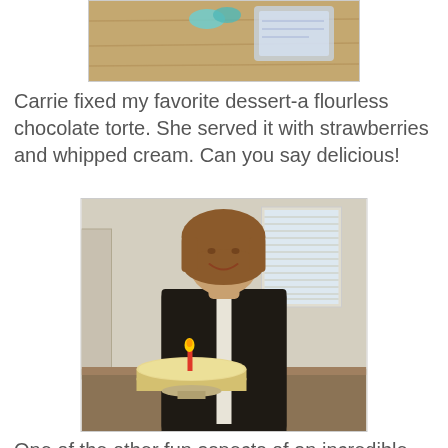[Figure (photo): Partial photo of a table with gift wrap, ribbon, and items on a wooden surface — cropped at top of page]
Carrie fixed my favorite dessert-a flourless chocolate torte. She served it with strawberries and whipped cream. Can you say delicious!
[Figure (photo): Woman with short brown bob haircut, wearing a dark vest over white turtleneck, smiling and standing behind a cake with a single lit candle on a table]
One of the other fun aspects of an incredible evening was